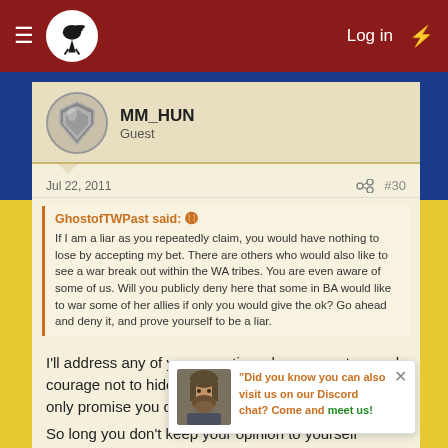MM_HUN - Log in
MM_HUN
Guest
Jul 22, 2011  #30
GhostofTWPast said: If I am a liar as you repeatedly claim, you would have nothing to lose by accepting my bet. There are others who would also like to see a war break out within the WA tribes. You are even aware of some of us. Will you publicly deny here that some in BA would like to war some of her allies if only you would give the ok? Go ahead and deny it, and prove yourself to be a liar.
I'll address any of your question when you get enough courage not to hide behind a random nick. That's the only promise you can get from me.
So long you don't keep your opinion to yourself enough to actually take responsibility for your own opinion, you won't earn any from us either. That's why either my own members or any allied